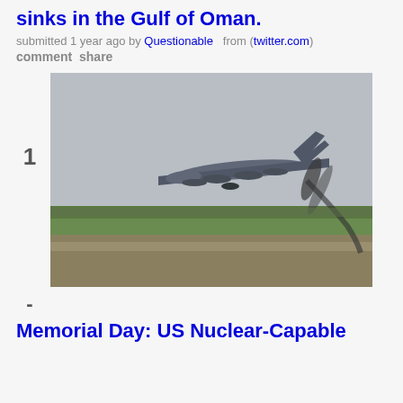sinks in the Gulf of Oman.
submitted 1 year ago by Questionable   from (twitter.com)
comment share
[Figure (photo): A military bomber aircraft (B-52) taking off or flying low over a runway with green grass and trees visible in the background, with dark engine exhaust visible. The sky is overcast gray.]
Memorial Day: US Nuclear-Capable